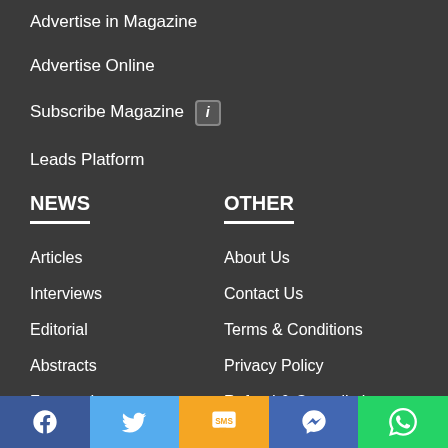Advertise in Magazine
Advertise Online
Subscribe Magazine ℹ
Leads Platform
NEWS
Articles
Interviews
Editorial
Abstracts
Featured
OTHER
About Us
Contact Us
Terms & Conditions
Privacy Policy
Refund & Cancellation Policy
Media
Media Kit
Facebook | Twitter | SMS | Messenger | WhatsApp